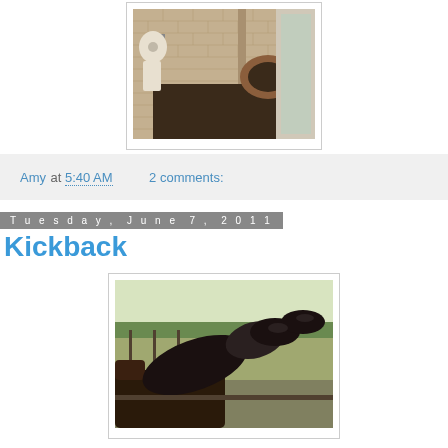[Figure (photo): Interior photo of an outhouse/privy with brick walls, toilet paper roll holder, and a wooden toilet seat on a dark cabinet]
Amy at 5:40 AM    2 comments:
Tuesday, June 7, 2011
Kickback
[Figure (photo): Photo of person reclining with feet up on a porch railing or chair, wearing dark shoes, with a rural countryside scene in the background]